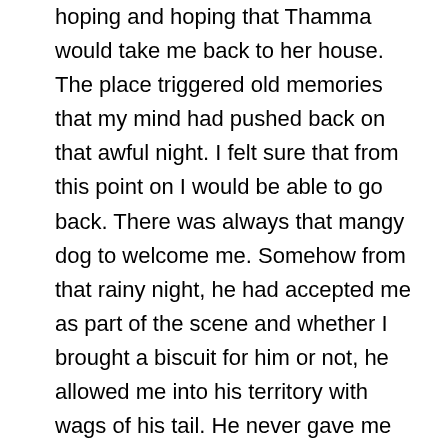hoping and hoping that Thamma would take me back to her house. The place triggered old memories that my mind had pushed back on that awful night. I felt sure that from this point on I would be able to go back. There was always that mangy dog to welcome me. Somehow from that rainy night, he had accepted me as part of the scene and whether I brought a biscuit for him or not, he allowed me into his territory with wags of his tail. He never gave me away when I waited up in the branches thinking and thinking. Sometimes Mangy – I could think of no other name, accompanied me to the main road.